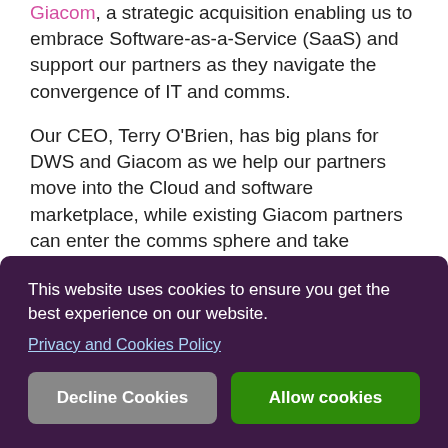Giacom, a strategic acquisition enabling us to embrace Software-as-a-Service (SaaS) and support our partners as they navigate the convergence of IT and comms.
Our CEO, Terry O'Brien, has big plans for DWS and Giacom as we help our partners move into the Cloud and software marketplace, while existing Giacom partners can enter the comms sphere and take advantage of new UC&C
This website uses cookies to ensure you get the best experience on our website.
Privacy and Cookies Policy
Decline Cookies
Allow cookies